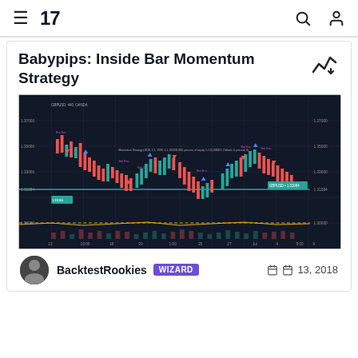TradingView navigation bar with hamburger menu, TV logo, search icon, user icon
Babypips: Inside Bar Momentum Strategy
[Figure (screenshot): TradingView chart showing GBPUSD 440-minute candlestick chart with Babypips Inside Bar Momentum Strategy overlaid, showing red and green candles, trade entry/exit labels in purple and blue, equity curve at bottom, price range approximately 1.29000-1.37000, date range from 13 to 13 (multi-week period)]
BacktestRookies WIZARD   13, 2018